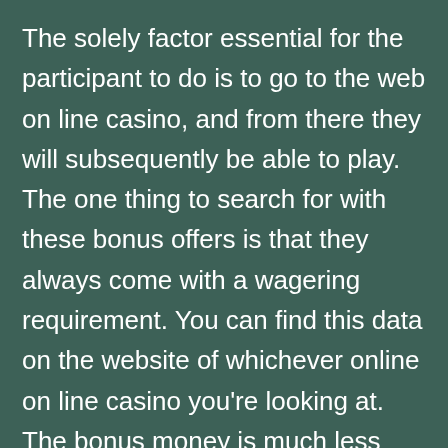The solely factor essential for the participant to do is to go to the web on line casino, and from there they will subsequently be able to play. The one thing to search for with these bonus offers is that they always come with a wagering requirement. You can find this data on the website of whichever online on line casino you're looking at. The bonus money is much less attractive whether it is linked to a wagering requirement that might be troublesome to fulfil.

That doesn't imply you're more prone to win massive when you don't know what you're